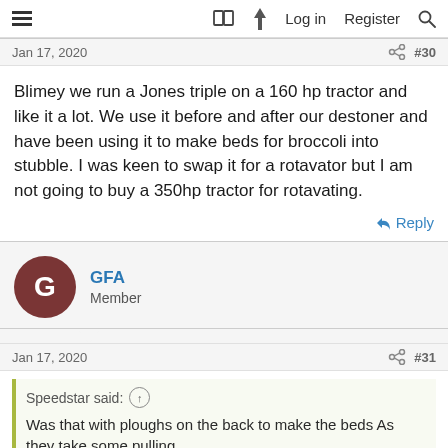≡  [book icon] [lightning icon]  Log in  Register  [search]
Jan 17, 2020  #30
Blimey we run a Jones triple on a 160 hp tractor and like it a lot. We use it before and after our destoner and have been using it to make beds for broccoli into stubble. I was keen to swap it for a rotavator but I am not going to buy a 350hp tractor for rotavating.
↩ Reply
GFA
Member
Jan 17, 2020  #31
Speedstar said: ↑

Was that with ploughs on the back to make the beds As they take some pulling